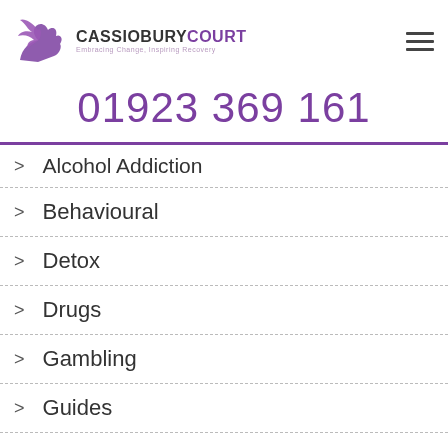CASSIOBURY COURT — Embracing Change, Inspiring Recovery
01923 369 161
Alcohol Addiction
Behavioural
Detox
Drugs
Gambling
Guides
Health
Inspiration